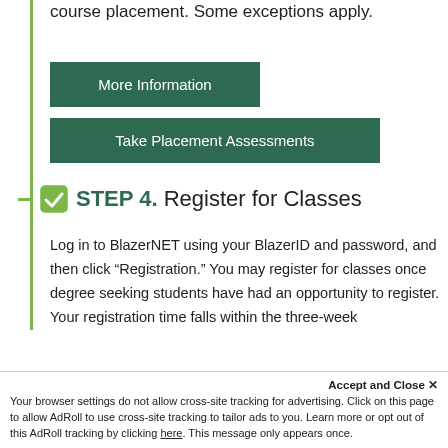course placement. Some exceptions apply.
More Information
Take Placement Assessments
STEP 4. Register for Classes
Log in to BlazerNET using your BlazerID and password, and then click “Registration.” You may register for classes once degree seeking students have had an opportunity to register. Your registration time falls within the three-week
Accept and Close × Your browser settings do not allow cross-site tracking for advertising. Click on this page to allow AdRoll to use cross-site tracking to tailor ads to you. Learn more or opt out of this AdRoll tracking by clicking here. This message only appears once.